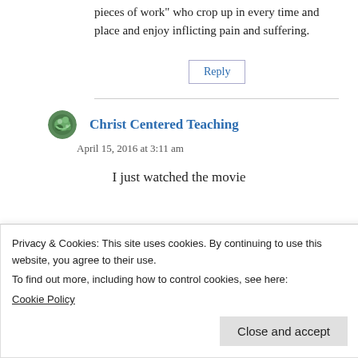pieces of work" who crop up in every time and place and enjoy inflicting pain and suffering.
Reply
Christ Centered Teaching
April 15, 2016 at 3:11 am
I just watched the movie
Privacy & Cookies: This site uses cookies. By continuing to use this website, you agree to their use.
To find out more, including how to control cookies, see here:
Cookie Policy
Close and accept